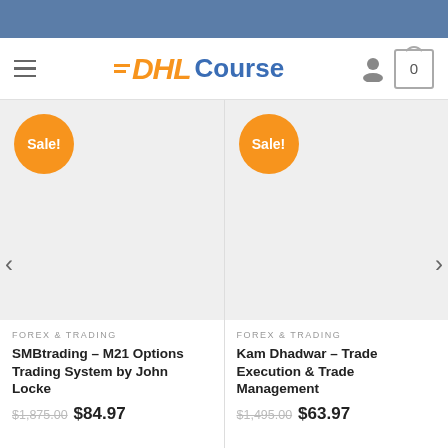[Figure (screenshot): DHL Course website navigation bar with hamburger menu, DHL Course logo, user icon, and cart icon showing 0]
[Figure (screenshot): Two product cards side by side. Left: Sale badge, gray product image placeholder. Right: Sale badge, gray product image placeholder. Left and right navigation arrows on the sides.]
FOREX & TRADING
SMBtrading – M21 Options Trading System by John Locke
$1,875.00 $84.97
FOREX & TRADING
Kam Dhadwar – Trade Execution & Trade Management
$1,495.00 $63.97